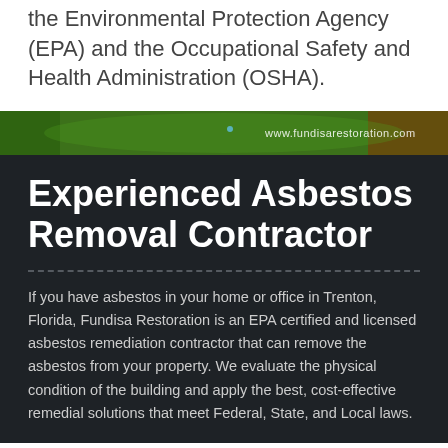the Environmental Protection Agency (EPA) and the Occupational Safety and Health Administration (OSHA).
[Figure (photo): A green vehicle with the Fundisa Restoration website URL 'www.fundisarestoration.com' visible on the side, photographed outdoors.]
Experienced Asbestos Removal Contractor
If you have asbestos in your home or office in Trenton, Florida, Fundisa Restoration is an EPA certified and licensed asbestos remediation contractor that can remove the asbestos from your property. We evaluate the physical condition of the building and apply the best, cost-effective remedial solutions that meet Federal, State, and Local laws.